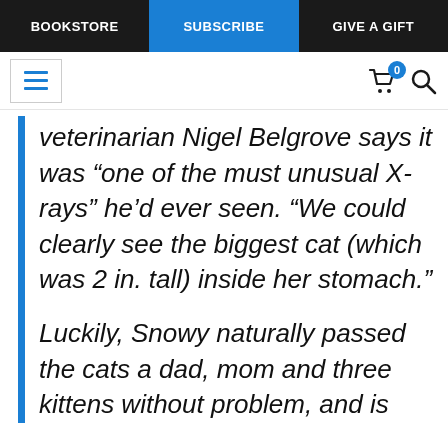BOOKSTORE | SUBSCRIBE | GIVE A GIFT
veterinarian Nigel Belgrove says it was “one of the must unusual X-rays” he’d ever seen. “We could clearly see the biggest cat (which was 2 in. tall) inside her stomach.”
Luckily, Snowy naturally passed the cats a dad, mom and three kittens without problem, and is